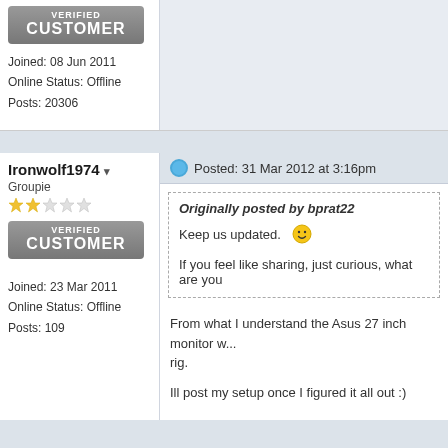[Figure (other): Verified Customer badge (grey/dark gradient) at top left, partially cropped]
Joined: 08 Jun 2011
Online Status: Offline
Posts: 20306
Ironwolf1974 ▼
Groupie
Posted: 31 Mar 2012 at 3:16pm
[Figure (other): Verified Customer badge (grey/dark gradient) for Ironwolf1974]
Joined: 23 Mar 2011
Online Status: Offline
Posts: 109
Originally posted by bprat22

Keep us updated. [smiley]

If you feel like sharing, just curious, what are you
From what I understand the Asus 27 inch monitor w...
rig.

Ill post my setup once I figured it all out :)